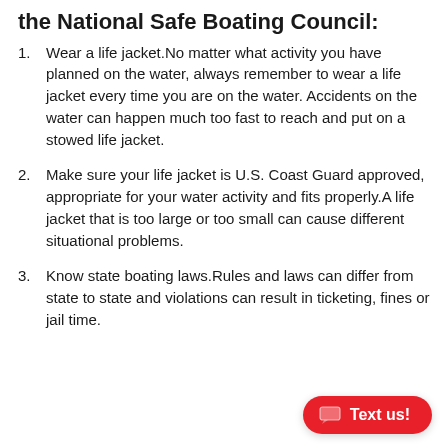the National Safe Boating Council:
Wear a life jacket.No matter what activity you have planned on the water, always remember to wear a life jacket every time you are on the water. Accidents on the water can happen much too fast to reach and put on a stowed life jacket.
Make sure your life jacket is U.S. Coast Guard approved, appropriate for your water activity and fits properly.A life jacket that is too large or too small can cause different situational problems.
Know state boating laws.Rules and laws can differ from state to state and violations can result in ticketing, fines or jail time.